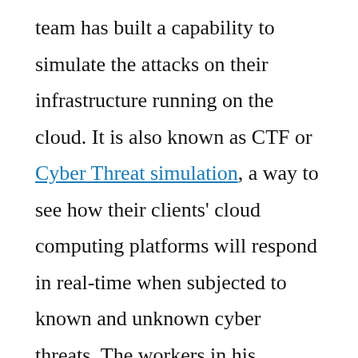team has built a capability to simulate the attacks on their infrastructure running on the cloud. It is also known as CTF or Cyber Threat simulation, a way to see how their clients' cloud computing platforms will respond in real-time when subjected to known and unknown cyber threats. The workers in his department love working with Tom Keane, they find him very collaborative, educative with a very charming character.